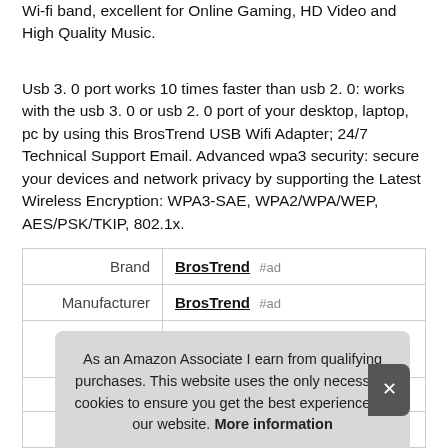Wi-fi band, excellent for Online Gaming, HD Video and High Quality Music.
Usb 3. 0 port works 10 times faster than usb 2. 0: works with the usb 3. 0 or usb 2. 0 port of your desktop, laptop, pc by using this BrosTrend USB Wifi Adapter; 24/7 Technical Support Email. Advanced wpa3 security: secure your devices and network privacy by supporting the Latest Wireless Encryption: WPA3-SAE, WPA2/WPA/WEP, AES/PSK/TKIP, 802.1x.
|  |  |
| --- | --- |
| Brand | BrosTrend #ad |
| Manufacturer | BrosTrend #ad |
| Width | 1.02 Inches |
As an Amazon Associate I earn from qualifying purchases. This website uses the only necessary cookies to ensure you get the best experience on our website. More information